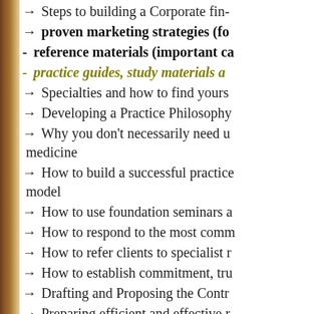→ Steps to building a Corporate fin-...
→ proven marketing strategies (fo...
- reference materials (important ca...
- practice guides, study materials a...
→ Specialties and how to find yours...
→ Developing a Practice Philosophy...
→ Why you don't necessarily need u... medicine
→ How to build a successful practice... model
→ How to use foundation seminars a...
→ How to respond to the most comm...
→ How to refer clients to specialist r...
→ How to establish commitment, tru...
→ Drafting and Proposing the Contr...
→ Preparing efficient and effective r...
→ How to design, implement and me...
→ How to prepare, design and cond...